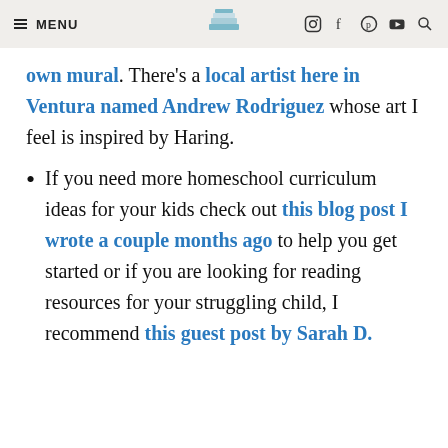MENU [logo] [social icons]
own mural. There's a local artist here in Ventura named Andrew Rodriguez whose art I feel is inspired by Haring.
If you need more homeschool curriculum ideas for your kids check out this blog post I wrote a couple months ago to help you get started or if you are looking for reading resources for your struggling child, I recommend this guest post by Sarah D.